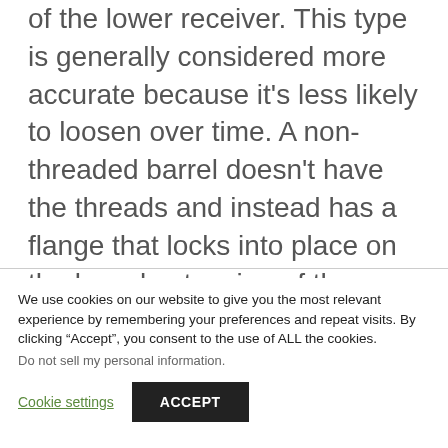of the lower receiver. This type is generally considered more accurate because it's less likely to loosen over time. A non-threaded barrel doesn't have the threads and instead has a flange that locks into place on the barrel extension of the lower receiver. This type is generally considered easier to install and remove.
We use cookies on our website to give you the most relevant experience by remembering your preferences and repeat visits. By clicking “Accept”, you consent to the use of ALL the cookies.
Do not sell my personal information.
Cookie settings
ACCEPT